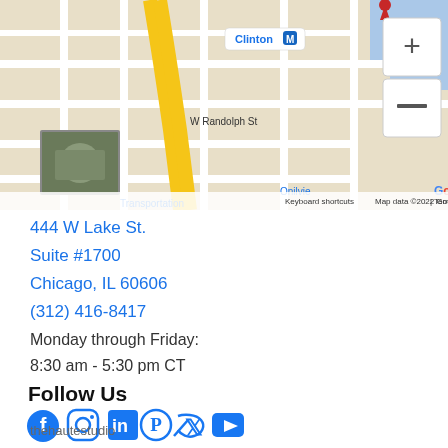[Figure (map): Google Maps screenshot showing downtown Chicago area near W Randolph St and W Lake St, with River Center Management pin, Clinton M station, Clark/L station, Ogilive Transportation area, Google logo, zoom controls (+/-), keyboard shortcuts and map data copyright notice]
444 W Lake St.
Suite #1700
Chicago, IL 60606
(312) 416-8417
Monday through Friday:
8:30 am - 5:30 pm CT
Follow Us
[Figure (illustration): Social media icons row: Facebook, Instagram, LinkedIn, Pinterest, Twitter, YouTube — all in blue]
thehautestudio